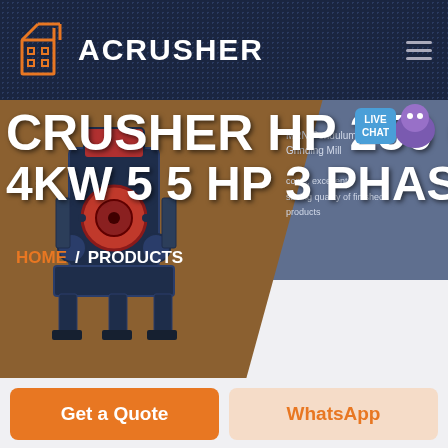[Figure (screenshot): ACRUSHER website header with dark navy background, orange building logo icon, white ACRUSHER text, and hamburger menu icon]
CRUSHER HP 250 C 4KW 5 5 HP 3 PHASE
MRN Pendulum Roller Grinding Mill costs, excellent saving quality of finished products
LIVE CHAT
HOME / PRODUCTS
[Figure (photo): Industrial crusher machine with dark blue/grey body on a brown/orange background]
Get a Quote
WhatsApp